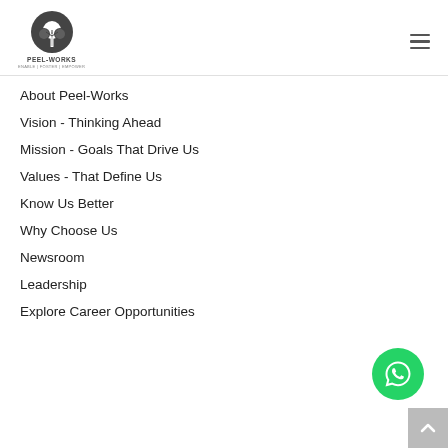[Figure (logo): Peel-Works logo: circular emblem with tree illustration, text PEEL-WORKS and tagline below]
[Figure (illustration): Hamburger menu icon (three horizontal lines) in top right corner]
About Peel-Works
Vision - Thinking Ahead
Mission - Goals That Drive Us
Values - That Define Us
Know Us Better
Why Choose Us
Newsroom
Leadership
Explore Career Opportunities
[Figure (illustration): WhatsApp green circular button with chat icon, bottom right corner]
[Figure (illustration): Scroll-to-top grey square button with up arrow, bottom right corner]